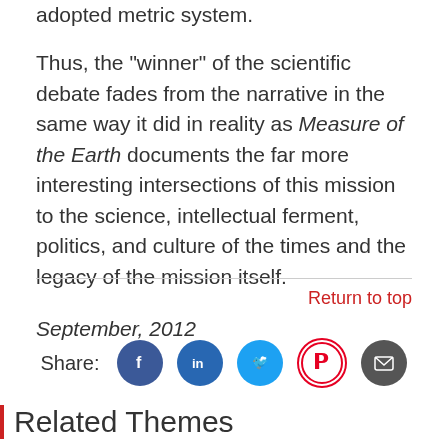adopted metric system.
Thus, the "winner" of the scientific debate fades from the narrative in the same way it did in reality as Measure of the Earth documents the far more interesting intersections of this mission to the science, intellectual ferment, politics, and culture of the times and the legacy of the mission itself.
September, 2012
Return to top
[Figure (infographic): Share bar with social media icons: Facebook, LinkedIn, Twitter, Pinterest, Email]
Related Themes